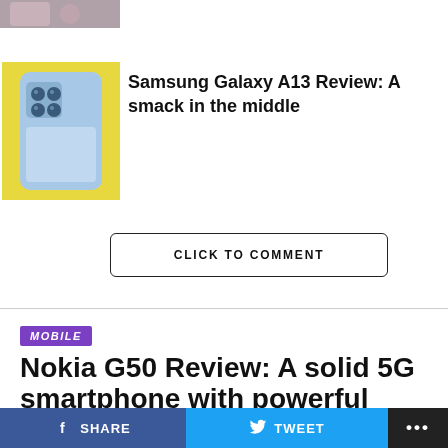[Figure (photo): Partial top image strip showing a person]
[Figure (photo): Samsung Galaxy A13 smartphone in light blue color on yellow background]
Samsung Galaxy A13 Review: A smack in the middle
CLICK TO COMMENT
MOBILE
Nokia G50 Review: A solid 5G smartphone with powerful battery life
A capable 5G-ready budget handset.
SHARE   TWEET   ...